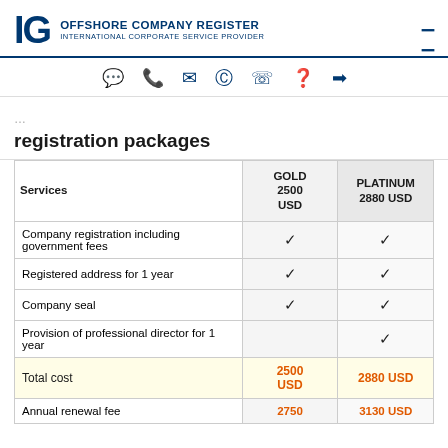IG OFFSHORE COMPANY REGISTER INTERNATIONAL CORPORATE SERVICE PROVIDER
registration packages
| Services | GOLD 2500 USD | PLATINUM 2880 USD |
| --- | --- | --- |
| Company registration including government fees | ✓ | ✓ |
| Registered address for 1 year | ✓ | ✓ |
| Company seal | ✓ | ✓ |
| Provision of professional director for 1 year |  | ✓ |
| Total cost | 2500 USD | 2880 USD |
| Annual renewal fee | 2750 | 3130 USD |